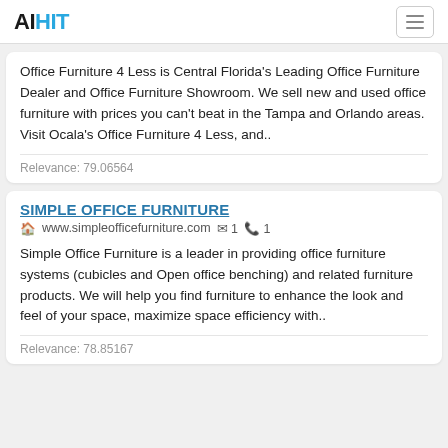AIHIT
Office Furniture 4 Less is Central Florida's Leading Office Furniture Dealer and Office Furniture Showroom. We sell new and used office furniture with prices you can't beat in the Tampa and Orlando areas. Visit Ocala's Office Furniture 4 Less, and..
Relevance: 79.06564
SIMPLE OFFICE FURNITURE
www.simpleofficefurniture.com  1  1
Simple Office Furniture is a leader in providing office furniture systems (cubicles and Open office benching) and related furniture products. We will help you find furniture to enhance the look and feel of your space, maximize space efficiency with..
Relevance: 78.85167